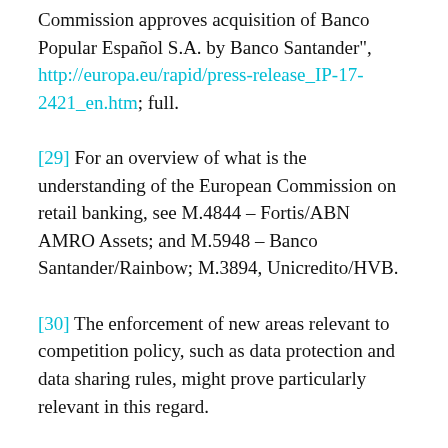Commission approves acquisition of Banco Popular Español S.A. by Banco Santander", http://europa.eu/rapid/press-release_IP-17-2421_en.htm; full.
[29] For an overview of what is the understanding of the European Commission on retail banking, see M.4844 – Fortis/ABN AMRO Assets; and M.5948 – Banco Santander/Rainbow; M.3894, Unicredito/HVB.
[30] The enforcement of new areas relevant to competition policy, such as data protection and data sharing rules, might prove particularly relevant in this regard.